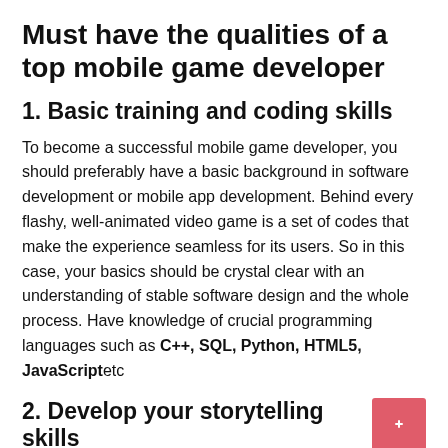Must have the qualities of a top mobile game developer
1. Basic training and coding skills
To become a successful mobile game developer, you should preferably have a basic background in software development or mobile app development. Behind every flashy, well-animated video game is a set of codes that make the experience seamless for its users. So in this case, your basics should be crystal clear with an understanding of stable software design and the whole process. Have knowledge of crucial programming languages such as C++, SQL, Python, HTML5, JavaScriptetc
2. Develop your storytelling skills
Storytelling in a video game is important because it helps the player feel more involved and immersed in the game. It gives meaning to everything in the game and helps the player understand better. The best type of video...